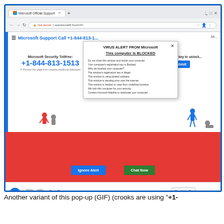[Figure (screenshot): Screenshot of a fake Microsoft tech support scam webpage shown in a Chrome browser. The page shows 'Microsoft Support Call +1-844-813-1...' with a popup dialog titled 'VIRUS ALERT FROM Microsoft' stating 'This computer is BLOCKED' with several warning messages. Below the browser content is a red section with 'Ignore Alert' and 'Chat Now' buttons. The bottom shows the PCRisk.com logo and browser download bar.]
Another variant of this pop-up (GIF) (crooks are using "+1-